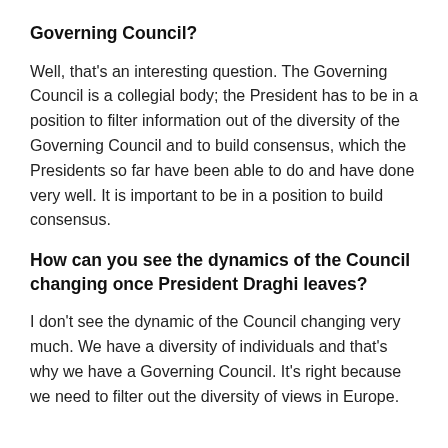Governing Council?
Well, that's an interesting question. The Governing Council is a collegial body; the President has to be in a position to filter information out of the diversity of the Governing Council and to build consensus, which the Presidents so far have been able to do and have done very well. It is important to be in a position to build consensus.
How can you see the dynamics of the Council changing once President Draghi leaves?
I don't see the dynamic of the Council changing very much. We have a diversity of individuals and that's why we have a Governing Council. It's right because we need to filter out the diversity of views in Europe.